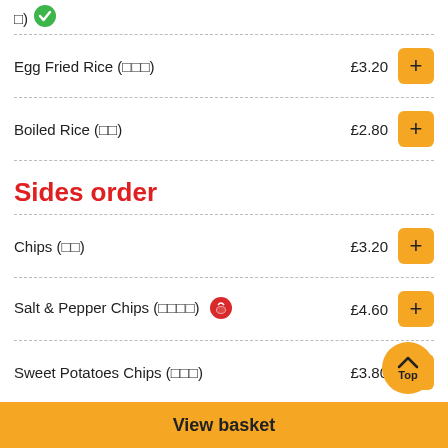Egg Fried Rice (□□□) £3.20
Boiled Rice (□□) £2.80
Sides order
Chips (□□) £3.20
Salt & Pepper Chips (□□□□) 🌶 £4.60
Sweet Potatoes Chips (□□□) £3.80
Salt & Pepper Sweet Potatoes £5.00
You need to spend £20 or more to order for delivery
View basket